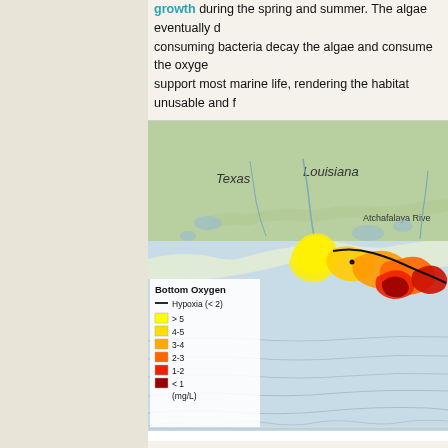growth during the spring and summer. The algae eventually d... consuming bacteria decay the algae and consume the oxyge... support most marine life, rendering the habitat unusable and f...
[Figure (map): Map showing bottom oxygen levels (hypoxia zones) in the Gulf of Mexico near Texas and Louisiana coastlines, including the Atchafalaya River area. Color-coded legend shows oxygen concentrations: >5 (bright yellow), 4-5 (yellow), 3-4 (light orange), 2-3 (orange), 1-2 (red), <1 (dark red) in mg/L. Hypoxia boundary (<2 mg/L) shown with black line.]